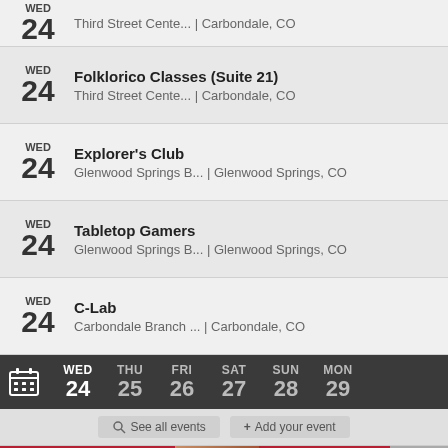WED 24 — Third Street Cente... | Carbondale, CO
WED 24 — Folklorico Classes (Suite 21) — Third Street Cente... | Carbondale, CO
WED 24 — Explorer's Club — Glenwood Springs B... | Glenwood Springs, CO
WED 24 — Tabletop Gamers — Glenwood Springs B... | Glenwood Springs, CO
WED 24 — C-Lab — Carbondale Branch ... | Carbondale, CO
[Figure (screenshot): Calendar navigation bar showing WED 24, THU 25, FRI 26, SAT 27, SUN 28, MON 29]
See all events   + Add your event
[Figure (screenshot): Macy's advertisement banner: KISS BORING LIPS GOODBYE with woman's face and SHOP NOW button]
We...
Home   Trending   Sections